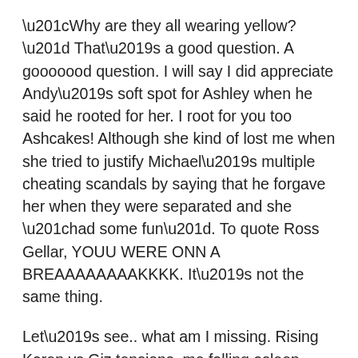“Why are they all wearing yellow?” That’s a good question. A gooooood question. I will say I did appreciate Andy’s soft spot for Ashley when he said he rooted for her. I root for you too Ashcakes! Although she kind of lost me when she tried to justify Michael’s multiple cheating scandals by saying that he forgave her when they were separated and she “had some fun”. To quote Ross Gellar, YOUU WERE ONN A BREAAAAAAAAKKKK. It’s not the same thing.
Let’s see.. what am I missing. Rising Karen vs Giz tensions, me falling asleep when Robyn or Wendy talk, OH yes a forgotten queen icon legend Katie Rost mention! She apparently said she had a sexual encounter with a former castmate?!?! WHOOOOO? I need to know. Also, I think I’ve said this before but justice for Katie. I’m pretty sure she was taken off the